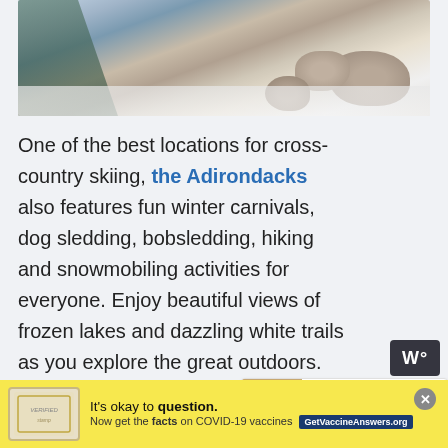[Figure (photo): Aerial or elevated view of a snowy rocky mountain/outdoor landscape with boulders and snow-covered ground, with evergreen trees on the left side.]
One of the best locations for cross-country skiing, the Adirondacks also features fun winter carnivals, dog sledding, bobsledding, hiking and snowmobiling activities for everyone. Enjoy beautiful views of frozen lakes and dazzling white trails as you explore the great outdoors.
[Figure (infographic): WHAT'S NEXT arrow label with thumbnail image. Text: 11 Best Family Vacations in...]
Ever ridden a wooden toboggan acro... lake? Try it at the Mirror Lake, where your
[Figure (infographic): Advertisement banner: It's okay to question. Now get the facts on COVID-19 vaccines. GetVaccineAnswers.org]